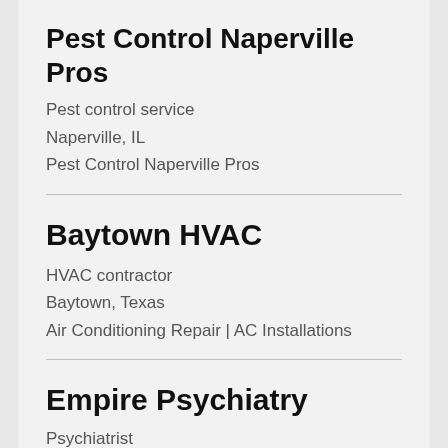Pest Control Naperville Pros
Pest control service
Naperville, IL
Pest Control Naperville Pros
Baytown HVAC
HVAC contractor
Baytown, Texas
Air Conditioning Repair | AC Installations
Empire Psychiatry
Psychiatrist